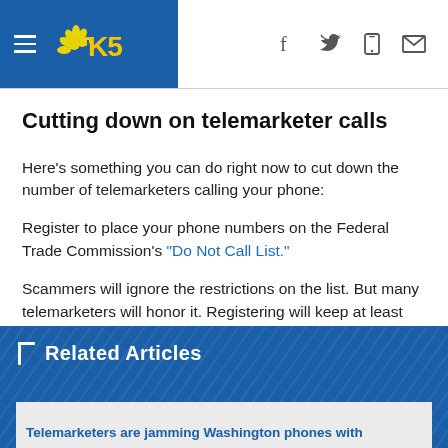KING5 NBC News navigation header with hamburger menu, KING5 logo, and social icons (Facebook, Twitter, Mobile, Email)
Cutting down on telemarketer calls
Here’s something you can do right now to cut down the number of telemarketers calling your phone:
Register to place your phone numbers on the Federal Trade Commission’s “Do Not Call List.”
Scammers will ignore the restrictions on the list. But many telemarketers will honor it. Registering will keep at least some of those calls from coming to your phone.
Related Articles
Telemarketers are jamming Washington phones with